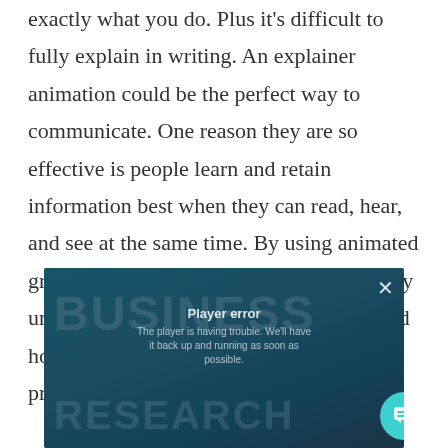exactly what you do. Plus it's difficult to fully explain in writing. An explainer animation could be the perfect way to communicate. One reason they are so effective is people learn and retain information best when they can read, hear, and see at the same time. By using animated graphics with voice-over, people more fully understand what your idea or service is and how you can help them solve their problems. Check out this example:
[Figure (screenshot): A video player showing a 'Business Research' branded video with a player error message overlay. The background is teal/dark blue with large semi-transparent text reading 'BUSINESS' and 'RESEARCH'. An overlay shows 'Player error' and 'The player is having trouble. We'll have it back up and running as soon as possible.' A close (X) button is in the top right and a teal chat bubble icon is in the bottom right.]